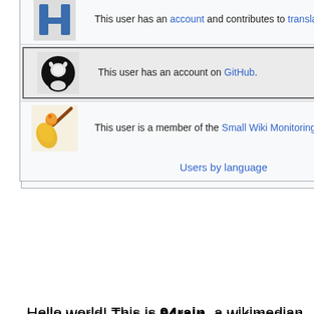| [translatewiki icon] | This user has an account and contributes to translatewiki.net. |
| [GitHub icon] | This user has an account on GitHub. |
| [SWMT icon] | This user is a member of the Small Wiki Monitoring Team. |
Users by language
Hello,world! This is 94rain, a wikimedian from Mainland China.
Some wikimedians decorate their user pages to tell their life story or reveal all sorts of interesting details about themselves, whilst others define their interests and values. I want to do neither, because I do not want to tempt you to stereotype me.
““ A lot of people think that being a steward is the only way to have an impact on